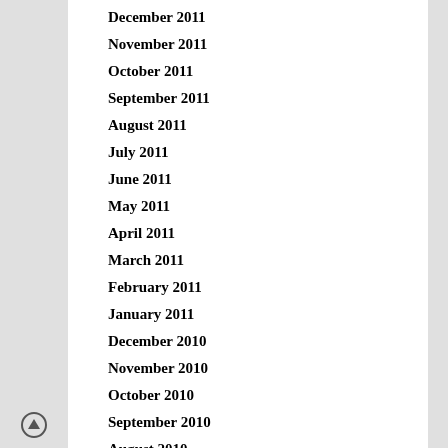December 2011
November 2011
October 2011
September 2011
August 2011
July 2011
June 2011
May 2011
April 2011
March 2011
February 2011
January 2011
December 2010
November 2010
October 2010
September 2010
August 2010
July 2010
June 2010
May 2010
April 2010